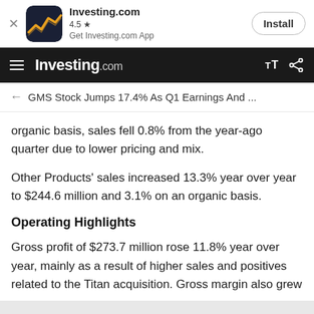[Figure (screenshot): Investing.com app install banner with logo, 4.5 star rating, and Install button]
Investing.com
GMS Stock Jumps 17.4% As Q1 Earnings And ...
organic basis, sales fell 0.8% from the year-ago quarter due to lower pricing and mix.
Other Products' sales increased 13.3% year over year to $244.6 million and 3.1% on an organic basis.
Operating Highlights
Gross profit of $273.7 million rose 11.8% year over year, mainly as a result of higher sales and positives related to the Titan acquisition. Gross margin also grew